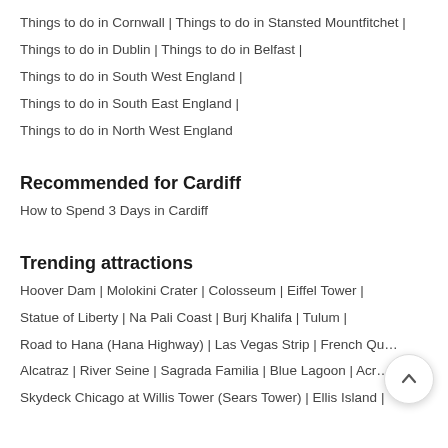Things to do in Cornwall | Things to do in Stansted Mountfitchet |
Things to do in Dublin | Things to do in Belfast |
Things to do in South West England |
Things to do in South East England |
Things to do in North West England
Recommended for Cardiff
How to Spend 3 Days in Cardiff
Trending attractions
Hoover Dam | Molokini Crater | Colosseum | Eiffel Tower |
Statue of Liberty | Na Pali Coast | Burj Khalifa | Tulum |
Road to Hana (Hana Highway) | Las Vegas Strip | French Qu…
Alcatraz | River Seine | Sagrada Familia | Blue Lagoon | Acr…
Skydeck Chicago at Willis Tower (Sears Tower) | Ellis Island |